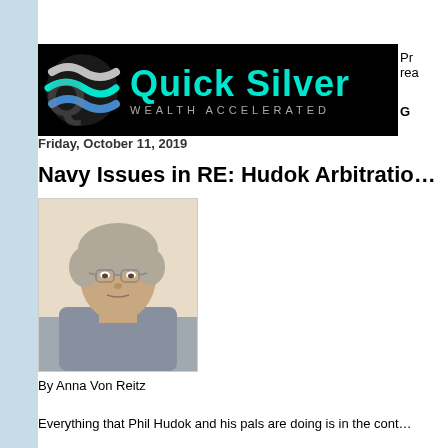[Figure (logo): Quick Silver Wealth Accelerated logo — black background with teal/silver swirl icon and teal text]
Friday, October 11, 2019
Navy Issues in RE: Hudok Arbitratio…
[Figure (photo): Portrait photo of Anna Von Reitz, older woman with short grey hair and glasses]
By Anna Von Reitz
Everything that Phil Hudok and his pals are doing is in the cont…